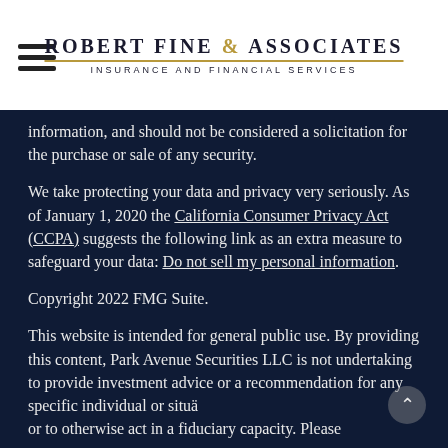Robert Fine & Associates — Insurance and Financial Services
information, and should not be considered a solicitation for the purchase or sale of any security.
We take protecting your data and privacy very seriously. As of January 1, 2020 the California Consumer Privacy Act (CCPA) suggests the following link as an extra measure to safeguard your data: Do not sell my personal information.
Copyright 2022 FMG Suite.
This website is intended for general public use. By providing this content, Park Avenue Securities LLC is not undertaking to provide investment advice or a recommendation for any specific individual or situation, or to otherwise act in a fiduciary capacity. Please